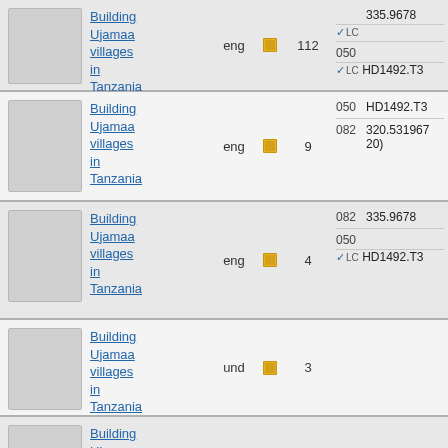| Thumbnail | Title | Lang | Icon | Count | Codes |
| --- | --- | --- | --- | --- | --- |
|  | Building Ujamaa villages in Tanzania | eng |  | 112 | 082: 335.9678 / 050 LC: HD1492.T3... |
|  | Building Ujamaa villages in Tanzania | eng |  | 9 | 050: HD1492.T3... / 082: 320.531967... 20) |
|  | Building Ujamaa villages in Tanzania | eng |  | 4 | 082: 335.9678 / 050 LC: HD1492.T3... |
|  | Building Ujamaa villages in Tanzania | und |  | 3 |  |
|  | Building Ujamaa villages in Tanzania |  |  |  |  |